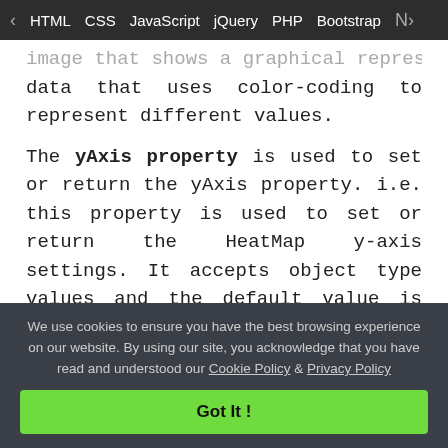< HTML CSS JavaScript jQuery PHP Bootstrap N>
image that shows a graphical representation of data that uses color-coding to represent different values.
The yAxis property is used to set or return the yAxis property. i.e. this property is used to set or return the HeatMap y-axis settings. It accepts object type values and the default value is null.
Syntax:
It is used to set the yAxis property.
$('Selector').jqxHeatMap({ yAxis : a
We use cookies to ensure you have the best browsing experience on our website. By using our site, you acknowledge that you have read and understood our Cookie Policy & Privacy Policy
Got It !